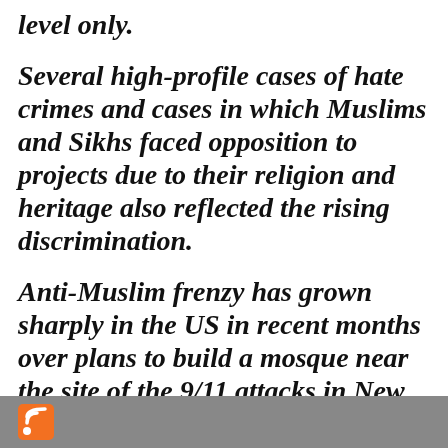level only.
Several high-profile cases of hate crimes and cases in which Muslims and Sikhs faced opposition to projects due to their religion and heritage also reflected the rising discrimination.
Anti-Muslim frenzy has grown sharply in the US in recent months over plans to build a mosque near the site of the 9/11 attacks in New York, resulting in attacks on Muslims and their
RSS feed icon